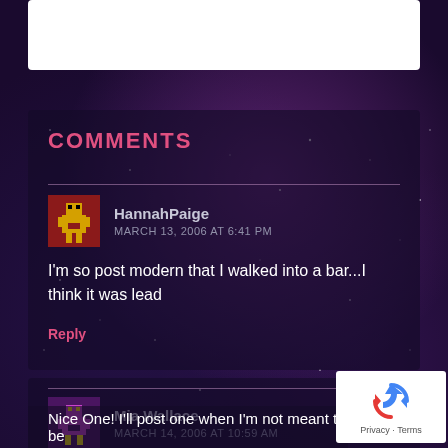COMMENTS
HannahPaige
MARCH 13, 2006 AT 6:41 PM
I'm so post modern that I walked into a bar...I think it was lead
Reply
Mia Wallace
MARCH 14, 2006 AT 10:59 AM
Nice One! I'll post one when I'm not meant to be